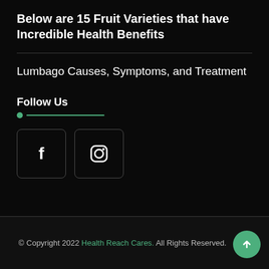Below are 15 Fruit Varieties that have Incredible Health Benefits
Lumbago Causes, Symptoms, and Treatment
Follow Us
[Figure (other): Facebook and Instagram social media icon buttons in dark bordered square containers]
© Copyright 2022 Health Reach Cares. All Rights Reserved.